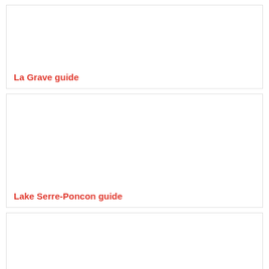La Grave guide
Lake Serre-Poncon guide
Mont-Dauphin guide